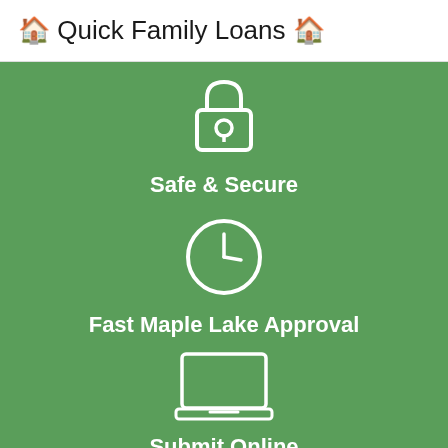🏠 Quick Family Loans 🏠
[Figure (illustration): White padlock icon on green background representing Safe & Secure]
Safe & Secure
[Figure (illustration): White clock icon on green background representing Fast Maple Lake Approval]
Fast Maple Lake Approval
[Figure (illustration): White laptop icon on green background representing Submit Online]
Submit Online